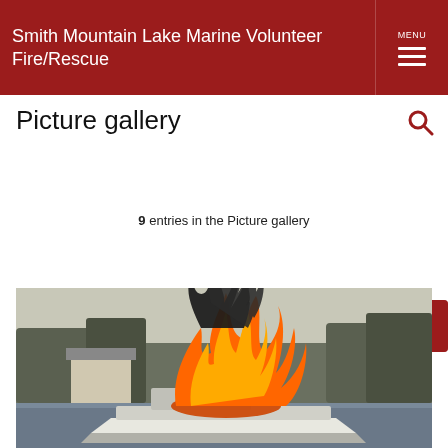Smith Mountain Lake Marine Volunteer Fire/Rescue
Picture gallery
1 of 1
9 entries in the Picture gallery
Viewing: Company 11 in Action
[Figure (photo): A motorboat on a lake with large orange flames and black smoke rising from it, with trees and a house visible in the background]